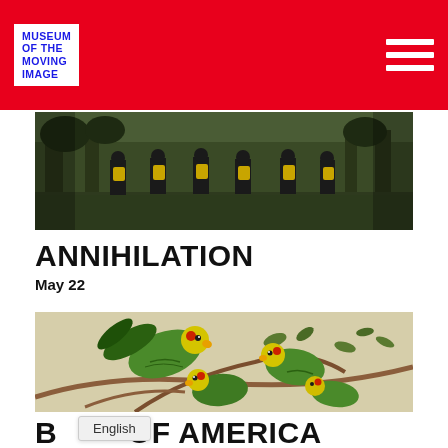MUSEUM OF THE MOVING IMAGE
[Figure (photo): Scene from Annihilation film — dark figures with yellow equipment packs walking away from camera through field with trees in background]
ANNIHILATION
May 22
[Figure (illustration): Illustration of green parrots with red and yellow heads perched on branches with leaves — Birds of America style Audubon illustration]
B...OF AMERICA